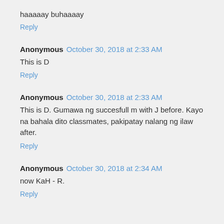haaaaay buhaaaay
Reply
Anonymous  October 30, 2018 at 2:33 AM
This is D
Reply
Anonymous  October 30, 2018 at 2:33 AM
This is D. Gumawa ng succesfull m with J before. Kayo na bahala dito classmates, pakipatay nalang ng ilaw after.
Reply
Anonymous  October 30, 2018 at 2:34 AM
now KaH - R.
Reply